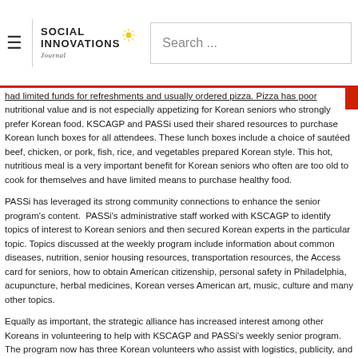Social Innovations Journal — Search bar
had limited funds for refreshments and usually ordered pizza. Pizza has poor nutritional value and is not especially appetizing for Korean seniors who strongly prefer Korean food. KSCAGP and PASSi used their shared resources to purchase Korean lunch boxes for all attendees. These lunch boxes include a choice of sautéed beef, chicken, or pork, fish, rice, and vegetables prepared Korean style. This hot, nutritious meal is a very important benefit for Korean seniors who often are too old to cook for themselves and have limited means to purchase healthy food.
PASSi has leveraged its strong community connections to enhance the senior program's content.  PASSi's administrative staff worked with KSCAGP to identify topics of interest to Korean seniors and then secured Korean experts in the particular topic. Topics discussed at the weekly program include information about common diseases, nutrition, senior housing resources, transportation resources, the Access card for seniors, how to obtain American citizenship, personal safety in Philadelphia, acupuncture, herbal medicines, Korean verses American art, music, culture and many other topics.
Equally as important, the strategic alliance has increased interest among other Koreans in volunteering to help with KSCAGP and PASSi's weekly senior program. The program now has three Korean volunteers who assist with logistics, publicity, and other items. These volunteers will help the program remain sustainable over the long term by reducing staff costs.
PASSi and KSCAGP's strategic alliance and joint senior programming have demonstrated the positive impact of strategic alliances in expanding programming for elderly immigrants while still allowing senior immigrants to have a strong voice